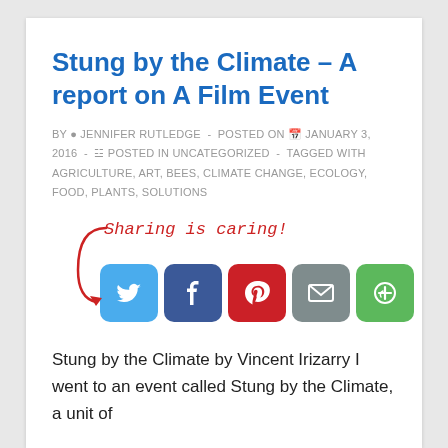Stung by the Climate – A report on A Film Event
BY JENNIFER RUTLEDGE - POSTED ON JANUARY 3, 2016 - POSTED IN UNCATEGORIZED - TAGGED WITH AGRICULTURE, ART, BEES, CLIMATE CHANGE, ECOLOGY, FOOD, PLANTS, SOLUTIONS
[Figure (infographic): Sharing is caring! social share icons for Twitter, Facebook, Pinterest, Email, and More options]
Stung by the Climate by Vincent Irizarry I went to an event called Stung by the Climate, a unit of